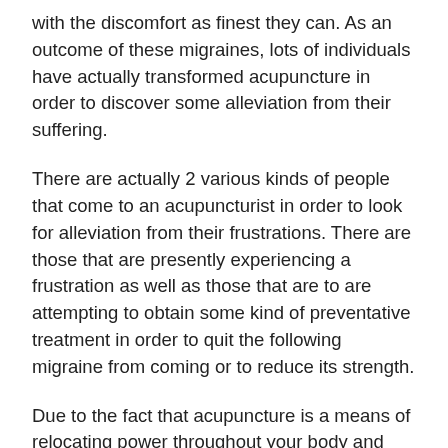with the discomfort as finest they can. As an outcome of these migraines, lots of individuals have actually transformed acupuncture in order to discover some alleviation from their suffering.
There are actually 2 various kinds of people that come to an acupuncturist in order to look for alleviation from their frustrations. There are those that are presently experiencing a frustration as well as those that are to are attempting to obtain some kind of preventative treatment in order to quit the following migraine from coming or to reduce its strength.
Due to the fact that acupuncture is a means of relocating power throughout your body and also it additionally could enhance blood circulation to specific locations, the factor why this is the instance is. The means of dealing with an existing frustration varies rather from the therapy that will certainly aid in